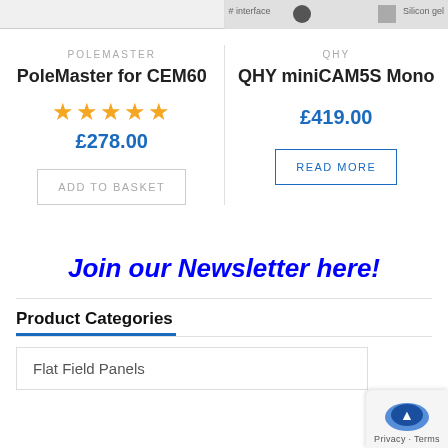[Figure (screenshot): Partial product image strip at top left showing truncated product card image]
[Figure (screenshot): Partial product image strip at top right showing partial interface and silicon gel product images]
POLEMASTER
PoleMaster for CEM60
★★★★★
£278.00
ADD TO BASKET
QHY
QHY miniCAM5S Mono
£419.00
READ MORE
Join our Newsletter here!
Product Categories
Flat Field Panels